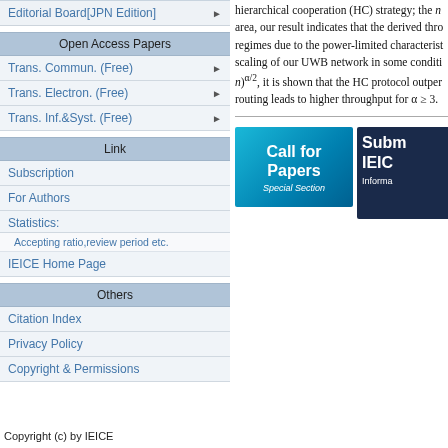Editorial Board[JPN Edition]
Open Access Papers
Trans. Commun. (Free)
Trans. Electron. (Free)
Trans. Inf.&Syst. (Free)
Link
Subscription
For Authors
Statistics:
Accepting ratio,review period etc.
IEICE Home Page
Others
Citation Index
Privacy Policy
Copyright & Permissions
hierarchical cooperation (HC) strategy; the n area, our result indicates that the derived thro regimes due to the power-limited characterist scaling of our UWB network in some conditi n)^{α/2}, it is shown that the HC protocol outper routing leads to higher throughput for α ≥ 3.
[Figure (screenshot): Two promotional banners: 'Call for Papers Special Section' on cyan/blue gradient background and 'Subm IEICE Informa' on dark navy background]
Copyright (c) by IEICE